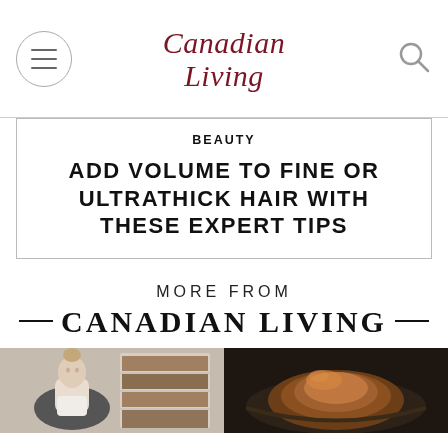Canadian Living
BEAUTY
ADD VOLUME TO FINE OR ULTRATHICK HAIR WITH THESE EXPERT TIPS
MORE FROM
CANADIAN LIVING
[Figure (photo): Woman with hair up sitting in chair indoors, firewood shelves in background]
[Figure (photo): Dark close-up of cooked poultry dish in a pan]